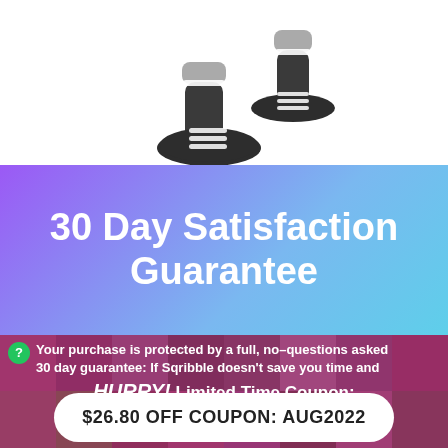[Figure (illustration): Illustration of two black socks/feet walking, shown from below, with white stripes and grey cuffs, on white background]
30 Day Satisfaction Guarantee
Your purchase is protected by a full, no–questions asked 30 day guarantee: If Sqribble doesn't save you time and
HURRY! Limited Time Coupon:
Day 5  Hour 14  Min 29  Sec 40
$26.80 OFF COUPON: AUG2022